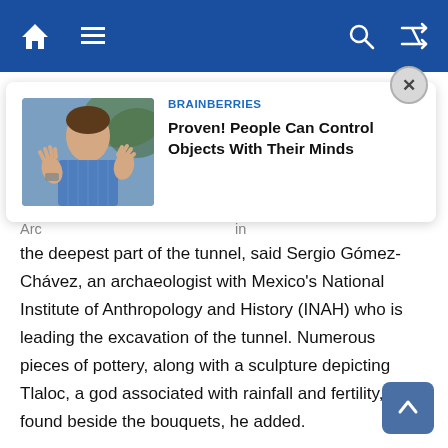Navigation bar with home, menu, search, and shuffle icons
[Figure (screenshot): Sponsored ad card overlay: Brainberries - Proven! People Can Control Objects With Their Minds, with a photo of a person gesturing with hands]
the deepest part of the tunnel, said Sergio Gómez-Chávez, an archaeologist with Mexico's National Institute of Anthropology and History (INAH) who is leading the excavation of the tunnel. Numerous pieces of pottery, along with a sculpture depicting Tlaloc, a god associated with rainfall and fertility, were found beside the bouquets, he added.
The bouquets were likely part of rituals, possibly associated with fertility, that Indigenous people performed in the tunnel, Gómez-Chávez told Live Science in a translated email. The team hopes that by determining the identity of the flowers, they can learn more